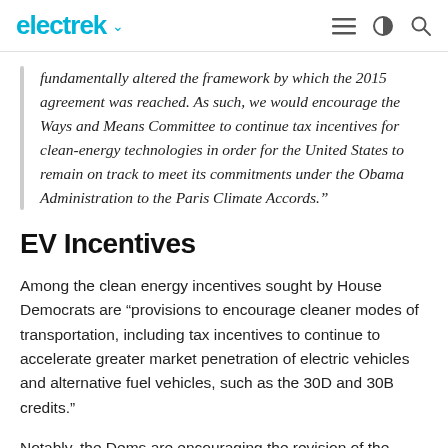electrek
fundamentally altered the framework by which the 2015 agreement was reached. As such, we would encourage the Ways and Means Committee to continue tax incentives for clean-energy technologies in order for the United States to remain on track to meet its commitments under the Obama Administration to the Paris Climate Accords.”
EV Incentives
Among the clean energy incentives sought by House Democrats are “provisions to encourage cleaner modes of transportation, including tax incentives to continue to accelerate greater market penetration of electric vehicles and alternative fuel vehicles, such as the 30D and 30B credits.”
Notably, the Dems are encouraging the revision of the